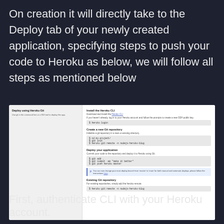On creation it will directly take to the Deploy tab of your newly created application, specifying steps to push your code to Heroku as below, we will follow all steps as mentioned below
[Figure (screenshot): Screenshot of Heroku Deploy tab showing sections: Deploy using Heroku Git (left panel), and Install the Heroku CLI, Create a new Git repository, Deploy your application, and Existing Git repository (right panel) with code commands and info box.]
First, authenticate CLI with your Heroku account.